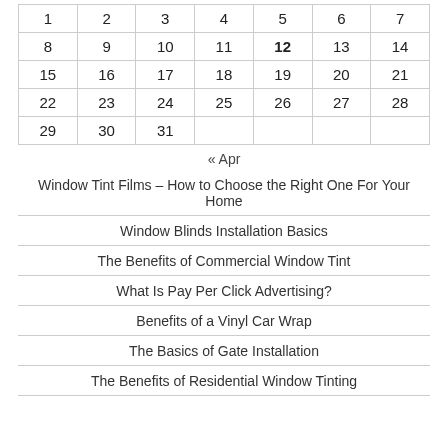| 1 | 2 | 3 | 4 | 5 | 6 | 7 |
| 8 | 9 | 10 | 11 | 12 | 13 | 14 |
| 15 | 16 | 17 | 18 | 19 | 20 | 21 |
| 22 | 23 | 24 | 25 | 26 | 27 | 28 |
| 29 | 30 | 31 |  |  |  |  |
« Apr
Window Tint Films – How to Choose the Right One For Your Home
Window Blinds Installation Basics
The Benefits of Commercial Window Tint
What Is Pay Per Click Advertising?
Benefits of a Vinyl Car Wrap
The Basics of Gate Installation
The Benefits of Residential Window Tinting